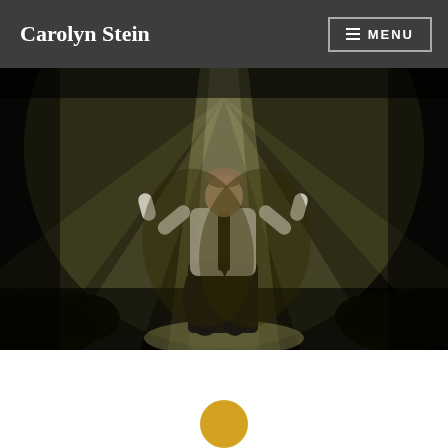Carolyn Stein
[Figure (photo): A performer in a white shirt and black tie on a dark stage, arms raised, illuminated by dramatic bright rays of light from behind, with silhouettes of audience or stage elements in the foreground.]